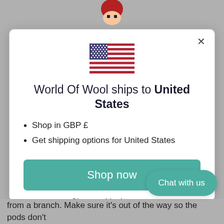[Figure (screenshot): US flag emoji icon centered above the modal title]
World Of Wool ships to United States
Shop in GBP £
Get shipping options for United States
Shop now
Change shipping country
Chat with us
from a branch. Make sure it's out of the way so the pods don't